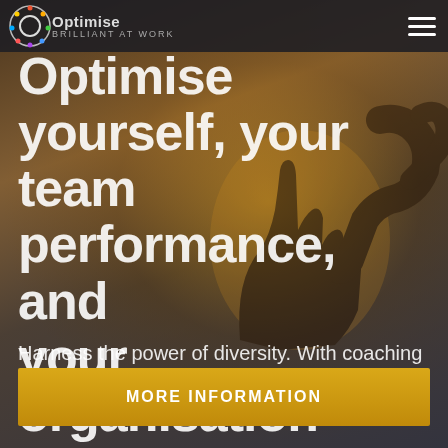[Figure (screenshot): Website hero section with dark/warm background showing silhouetted hands raised, with navigation bar, headline text, subtext, and CTA button]
Optimise BRILLIANT AT WORK
Optimise yourself, your team performance, and your organisation
Harness the power of diversity. With coaching and an online platform.
MORE INFORMATION